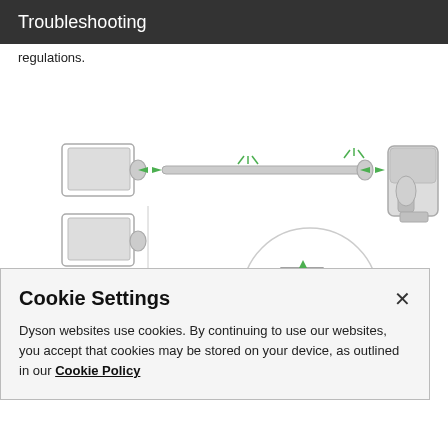Troubleshooting
regulations.
[Figure (engineering-diagram): Dyson cordless vacuum cleaner assembly diagram showing the wand connecting to the main body unit on the right and a floor head attachment on the left, with green arrows indicating connection points. Below shows various attachments and a circular detail inset with green arrows showing how the click-in attachment mechanism works.]
Cookie Settings
Dyson websites use cookies. By continuing to use our websites, you accept that cookies may be stored on your device, as outlined in our Cookie Policy